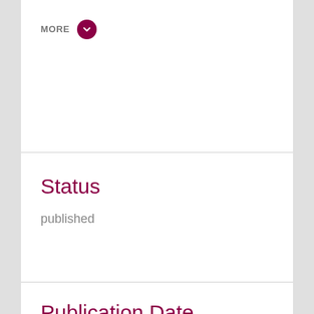MORE
Status
published
Publication Date
February 2001
Has Subject Area